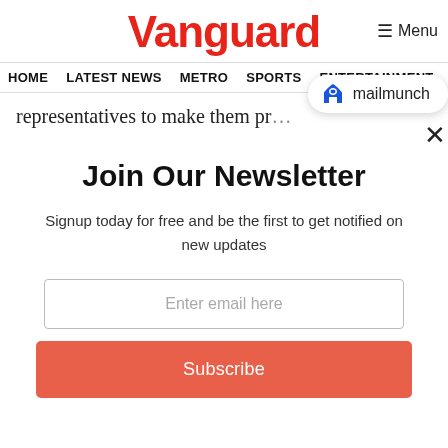Vanguard
≡ Menu
HOME  LATEST NEWS  METRO  SPORTS  ENTERTAINMENT  VIDEOS
representatives to make them pr…
[Figure (logo): Mailmunch logo badge with blue M icon and text 'mailmunch']
×
Join Our Newsletter
Signup today for free and be the first to get notified on new updates
Enter email here
Subscribe